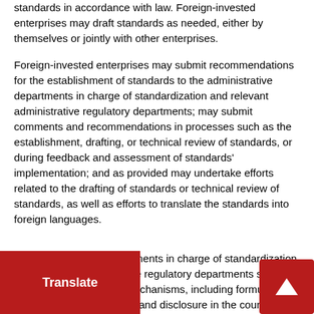standards in accordance with law. Foreign-invested enterprises may draft standards as needed, either by themselves or jointly with other enterprises.
Foreign-invested enterprises may submit recommendations for the establishment of standards to the administrative departments in charge of standardization and relevant administrative regulatory departments; may submit comments and recommendations in processes such as the establishment, drafting, or technical review of standards, or during feedback and assessment of standards' implementation; and as provided may undertake efforts related to the drafting of standards or technical review of standards, as well as efforts to translate the standards into foreign languages.
The administrative departments in charge of standardization and relevant administrative regulatory departments shall establish relevant work mechanisms, including formulation and revision of standards, and disclosure in the course of drafting and